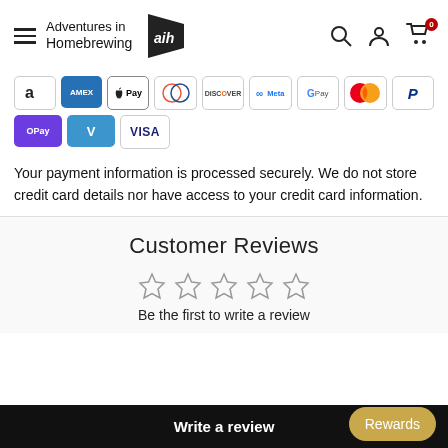Adventures in Homebrewing — navigation header with search, user, and cart icons
[Figure (infographic): Payment method icons: Amazon, AMEX, Apple Pay, Diners Club, Discover, Meta Pay, Google Pay, Mastercard, PayPal, OPay, Venmo, VISA]
Your payment information is processed securely. We do not store credit card details nor have access to your credit card information.
Customer Reviews
[Figure (infographic): Five empty star rating icons]
Be the first to write a review
Write a review